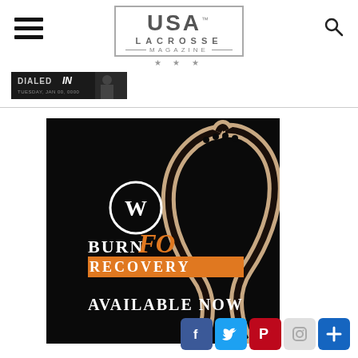[Figure (logo): USA Lacrosse Magazine logo with hamburger menu and search icon]
[Figure (screenshot): Dialed In banner advertisement with dark background]
[Figure (photo): Warrior Burn FO Recovery lacrosse head advertisement on black background with text AVAILABLE NOW]
[Figure (infographic): Social media sharing buttons: Facebook, Twitter, Pinterest, Instagram, and plus/share button]